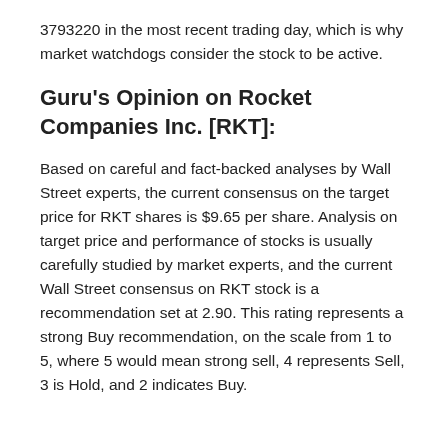3793220 in the most recent trading day, which is why market watchdogs consider the stock to be active.
Guru's Opinion on Rocket Companies Inc. [RKT]:
Based on careful and fact-backed analyses by Wall Street experts, the current consensus on the target price for RKT shares is $9.65 per share. Analysis on target price and performance of stocks is usually carefully studied by market experts, and the current Wall Street consensus on RKT stock is a recommendation set at 2.90. This rating represents a strong Buy recommendation, on the scale from 1 to 5, where 5 would mean strong sell, 4 represents Sell, 3 is Hold, and 2 indicates Buy.